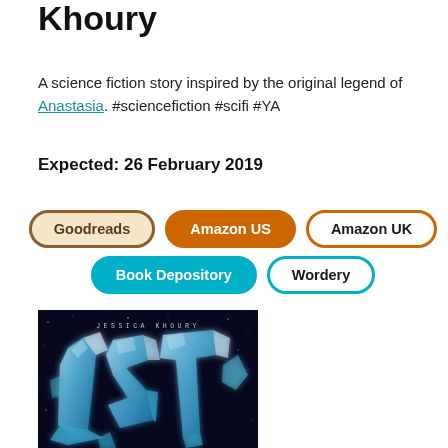Khoury
A science fiction story inspired by the original legend of Anastasia. #sciencefiction #scifi #YA
Expected: 26 February 2019
Goodreads | Amazon US | Amazon UK | Book Depository | Wordery
[Figure (photo): Book cover for a novel by Jessica Khoury, dark blue background with glowing crystalline blue text forming the word 'LST' or similar, with the author name 'JESSICA KHOURY' at the top in spaced white letters.]